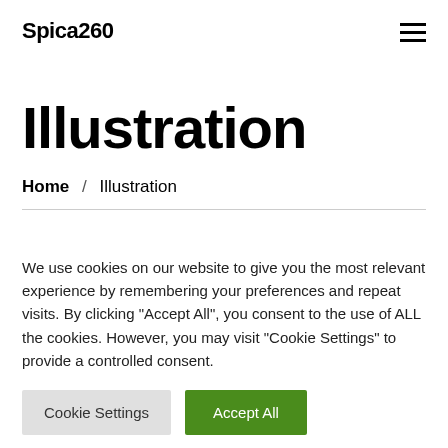Spica260
Illustration
Home / Illustration
We use cookies on our website to give you the most relevant experience by remembering your preferences and repeat visits. By clicking "Accept All", you consent to the use of ALL the cookies. However, you may visit "Cookie Settings" to provide a controlled consent.